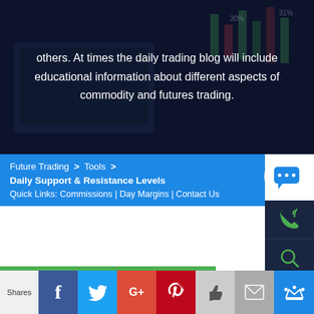others. At times the daily trading blog will include educational information about different aspects of commodity and futures trading.
Future Trading > Tools > Daily Support & Resistance Levels
Quick Links: Commissions | Day Margins | Contact Us
[Figure (screenshot): Right sidebar with icons: chat bubble (white circle with chat icon), phone, search, chart/trend, thumbs-up]
OPEN AN ACCOUNT
FREE DEMO ACCOUNT
[Figure (screenshot): Social share bar with labels: Shares, Facebook (f), Twitter (bird), Google+, Pinterest (P), Like (thumbs up), Mail (envelope), Crown icon]